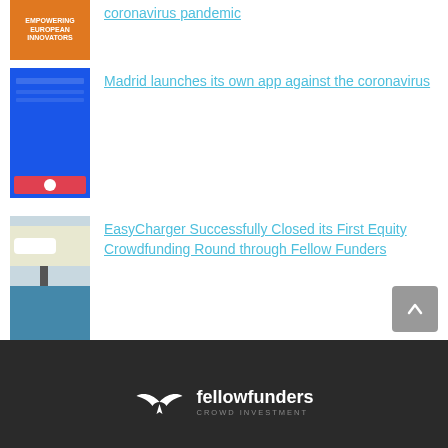coronavirus pandemic
[Figure (photo): Orange banner with text Empowering European Innovators]
Madrid launches its own app against the coronavirus
[Figure (photo): Blue smartphone app screen for Madrid coronavirus app]
EasyCharger Successfully Closed its First Equity Crowdfunding Round through Fellow Funders
[Figure (photo): Electric vehicle charging station in a parking lot]
[Figure (infographic): Social media icons row: Facebook, Twitter, YouTube, LinkedIn, Instagram]
fellow funders CROWD INVESTMENT